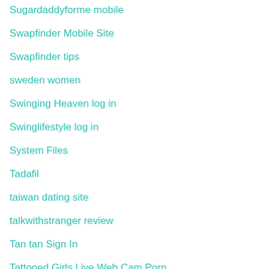Sugardaddyforme mobile
Swapfinder Mobile Site
Swapfinder tips
sweden women
Swinging Heaven log in
Swinglifestyle log in
System Files
Tadafil
taiwan dating site
talkwithstranger review
Tan tan Sign In
Tattooed Girls Live Web Cam Porn